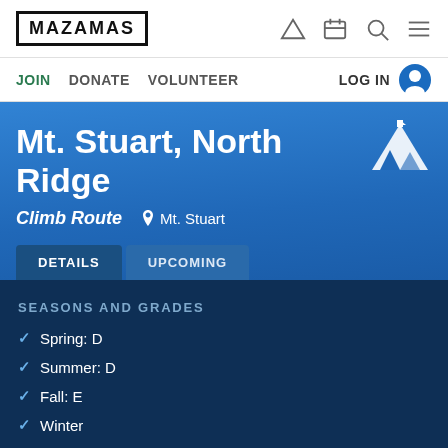MAZAMAS
JOIN  DONATE  VOLUNTEER  LOG IN
Mt. Stuart, North Ridge
Climb Route   Mt. Stuart
DETAILS  UPCOMING
SEASONS AND GRADES
Spring: D
Summer: D
Fall: E
Winter